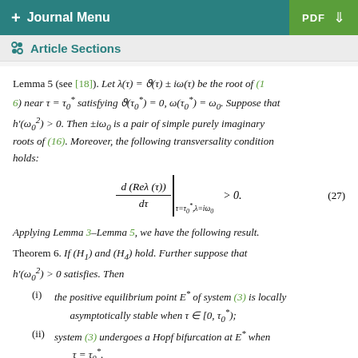+ Journal Menu | PDF
Article Sections
Lemma 5 (see [18]). Let λ(τ) = ϑ(τ) ± iω(τ) be the root of (16) near τ = τ₀* satisfying ϑ(τ₀*) = 0, ω(τ₀*) = ω₀. Suppose that h′(ω₀²) > 0. Then ±iω₀ is a pair of simple purely imaginary roots of (16). Moreover, the following transversality condition holds:
Applying Lemma 3–Lemma 5, we have the following result.
Theorem 6. If (H₁) and (H₄) hold. Further suppose that h′(ω₀²) > 0 satisfies. Then
(i) the positive equilibrium point E* of system (3) is locally asymptotically stable when τ ∈ [0, τ₀*);
(ii) system (3) undergoes a Hopf bifurcation at E* when τ = τ₀*.